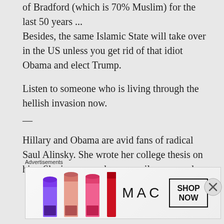of Bradford (which is 70% Muslim) for the last 50 years ... Besides, the same Islamic State will take over in the US unless you get rid of that idiot Obama and elect Trump.
Listen to someone who is living through the hellish invasion now.
—
Hillary and Obama are avid fans of radical Saul Alinsky. She wrote her college thesis on him. She is a power hungry evil woman who
Advertisements
[Figure (photo): MAC Cosmetics advertisement showing lipsticks in purple, peach, and pink colors with MAC logo and SHOP NOW button]